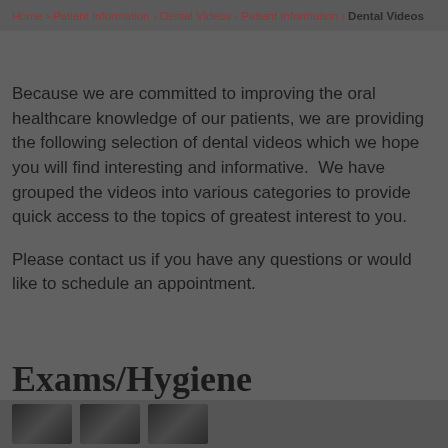Home > Patient Information > Dental Videos > Patient Information > Dental Videos
Because we are committed to improving the oral healthcare knowledge of our patients, we are providing the following selection of dental videos which we hope you will find interesting and informative.  We have grouped the videos into various categories to provide quick access to the topics of greatest interest to you.
Please contact us if you have any questions or would like to schedule an appointment.
Exams/Hygiene
[Figure (photo): Three video thumbnail images partially visible at the bottom of the page]